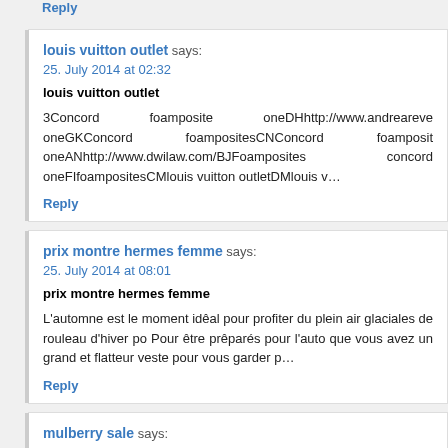Reply
louis vuitton outlet says:
25. July 2014 at 02:32
louis vuitton outlet
3Concord foamposite oneDHhttp://www.andreareve... oneGKConcord foampositesCNConcord foamposit... oneANhttp://www.dwilaw.com/BJFoamposites concord... oneFIfoampositesCMlouis vuitton outletDMlouis v…
Reply
prix montre hermes femme says:
25. July 2014 at 08:01
prix montre hermes femme
L'automne est le moment idéal pour profiter du plein air... glaciales de rouleau d'hiver po Pour être préparés pour l'auto... que vous avez un grand et flatteur veste pour vous garder p...
Reply
mulberry sale says:
26. July 2014 at 01:54
mulberry sale